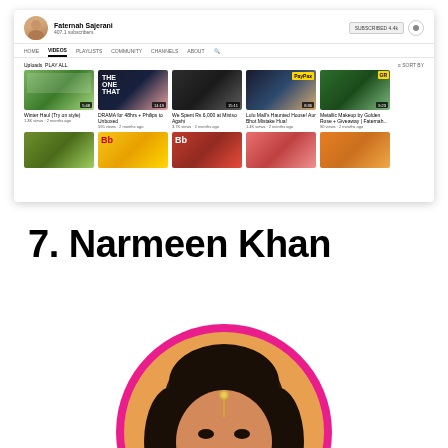[Figure (screenshot): YouTube channel page for Faternah Sajerani showing Videos tab with video thumbnails in a grid layout]
7. Narmeen Khan
[Figure (photo): Portrait photo of Narmeen Khan in a circular frame with pink/magenta border]